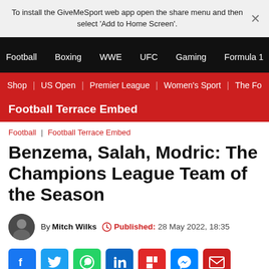To install the GiveMeSport web app open the share menu and then select 'Add to Home Screen'.
Football | Boxing | WWE | UFC | Gaming | Formula 1
Shop | US Open | Premier League | Women's Sport | The Fo
Football Terrace Embed
Football | Football Terrace Embed
Benzema, Salah, Modric: The Champions League Team of the Season
By Mitch Wilks  Published: 28 May 2022, 18:35
[Figure (other): Social share icons: Facebook, Twitter, WhatsApp, LinkedIn, Flipboard, Messenger, Email]